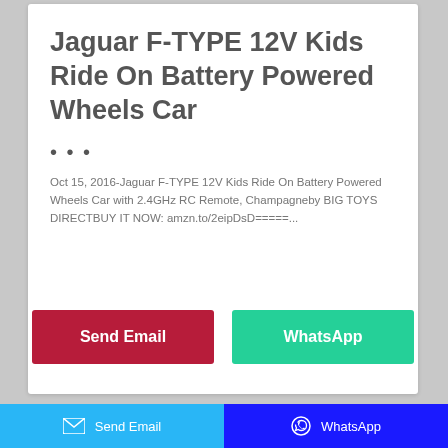Jaguar F-TYPE 12V Kids Ride On Battery Powered Wheels Car
...
Oct 15, 2016-Jaguar F-TYPE 12V Kids Ride On Battery Powered Wheels Car with 2.4GHz RC Remote, Champagneby BIG TOYS DIRECTBUY IT NOW: amzn.to/2eipDsD=====...
Send Email
WhatsApp
Send Email   WhatsApp